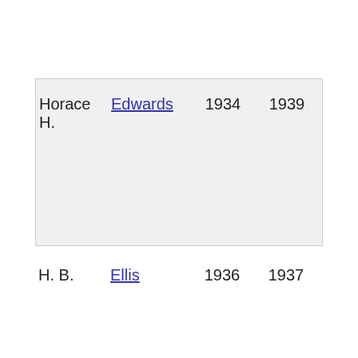| Horace H. | Edwards | 1934 | 1939 |
| H. B. | Ellis | 1936 | 1937 |